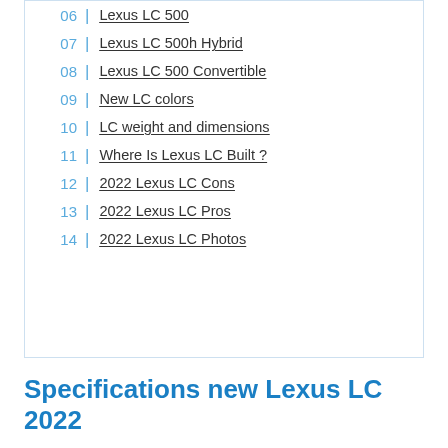06 | Lexus LC 500
07 | Lexus LC 500h Hybrid
08 | Lexus LC 500 Convertible
09 | New LC colors
10 | LC weight and dimensions
11 | Where Is Lexus LC Built ?
12 | 2022 Lexus LC Cons
13 | 2022 Lexus LC Pros
14 | 2022 Lexus LC Photos
Specifications new Lexus LC 2022